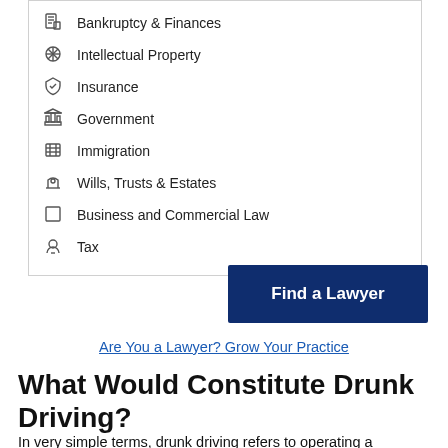Bankruptcy & Finances
Intellectual Property
Insurance
Government
Immigration
Wills, Trusts & Estates
Business and Commercial Law
Tax
Find a Lawyer
Are You a Lawyer? Grow Your Practice
What Would Constitute Drunk Driving?
In very simple terms, drunk driving refers to operating a